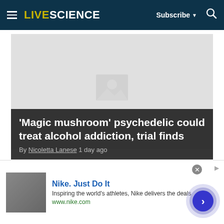LIVESCIENCE — Subscribe ▼ 🔍
[Figure (photo): Article hero image placeholder (grey box with image icon)]
'Magic mushroom' psychedelic could treat alcohol addiction, trial finds
By Nicoletta Lanese 1 day ago
[Figure (photo): Second article image placeholder (grey box)]
[Figure (other): Nike advertisement banner: 'Nike. Just Do It' — Inspiring the world's athletes, Nike delivers the deals — www.nike.com]